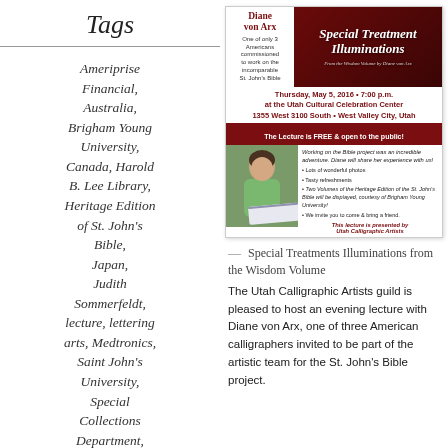Tags
Ameriprise Financial
Australia
Brigham Young University
Canada
Harold B. Lee Library
Heritage Edition of St. John's Bible
Japan
Judith Sommerfeldt
lecture
lettering arts
Medtronics
Saint John's University
Special Collections Department
St. John's Bible
[Figure (infographic): Event flyer for a lecture by Diane von Arx titled 'Special Treatment Illuminations' from the Wisdom Volume. Event on Thursday, May 5, 2016 at 7:00 p.m. at the Utah Cultural Celebration Center, 1355 West 3100 South, West Valley City, Utah. The Lecture is FREE and open to the public. Presented by Utah Calligraphic Artists.]
— Special Treatments Illuminations from the Wisdom Volume
The Utah Calligraphic Artists guild is pleased to host an evening lecture with Diane von Arx, one of three American calligraphers invited to be part of the artistic team for the St. John's Bible project.